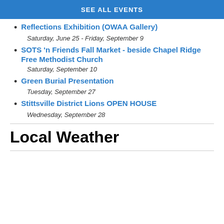SEE ALL EVENTS
Reflections Exhibition (OWAA Gallery)
Saturday, June 25 - Friday, September 9
SOTS 'n Friends Fall Market - beside Chapel Ridge Free Methodist Church
Saturday, September 10
Green Burial Presentation
Tuesday, September 27
Stittsville District Lions OPEN HOUSE
Wednesday, September 28
Local Weather